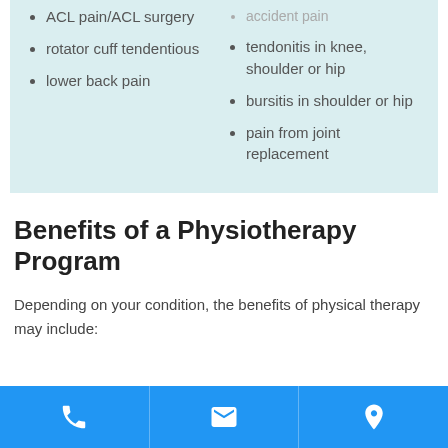ACL pain/ACL surgery
rotator cuff tendentious
lower back pain
accident pain
tendonitis in knee, shoulder or hip
bursitis in shoulder or hip
pain from joint replacement
Benefits of a Physiotherapy Program
Depending on your condition, the benefits of physical therapy may include:
[Figure (infographic): Blue footer bar with three icons: phone, email envelope, and map pin location marker]